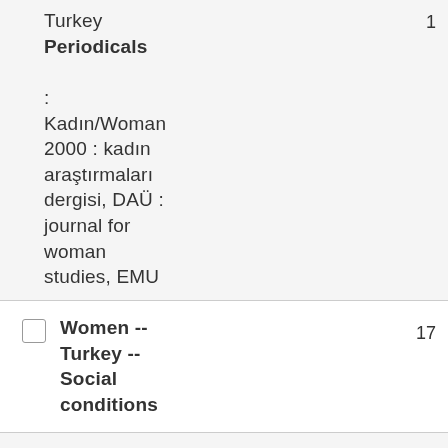Turkey Periodicals : Kadın/Woman 2000 : kadın araştırmaları dergisi, DAÜ : journal for woman studies, EMU
Women -- Turkey -- Social conditions
Women -- Turkey -- Social